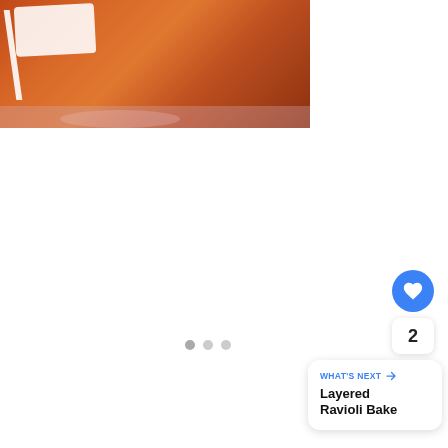[Figure (photo): Close-up photo of baked food in a white dish, showing orange-brown caramelized sauce, with pink/floral background below]
2
WHAT'S NEXT → Layered Ravioli Bake